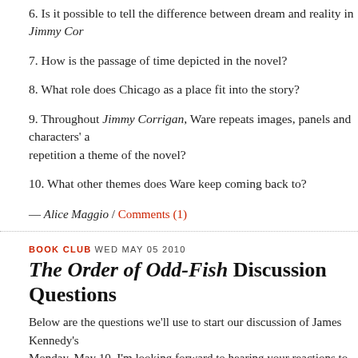6. Is it possible to tell the difference between dream and reality in Jimmy Cor
7. How is the passage of time depicted in the novel?
8. What role does Chicago as a place fit into the story?
9. Throughout Jimmy Corrigan, Ware repeats images, panels and characters' a repetition a theme of the novel?
10. What other themes does Ware keep coming back to?
— Alice Maggio / Comments (1)
BOOK CLUB WED MAY 05 2010
The Order of Odd-Fish Discussion Questions
Below are the questions we'll use to start our discussion of James Kennedy's Monday, May 10. I'm looking forward to hearing your reactions to the fantast uppity cockroaches and Jo Larouche's battle with the legend of the All-Devou